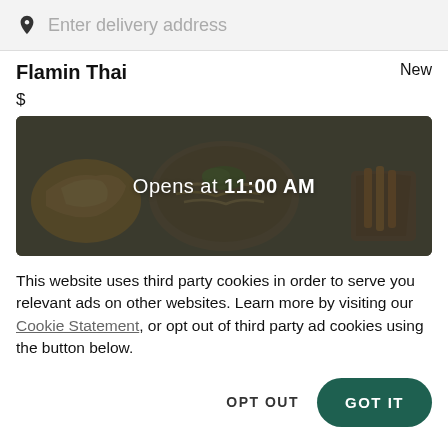Enter delivery address
Flamin Thai
New
$
[Figure (photo): Food photo showing Thai dishes including dumplings, noodles, and other dishes on a dark background. Overlaid text reads 'Opens at 11:00 AM']
This website uses third party cookies in order to serve you relevant ads on other websites. Learn more by visiting our Cookie Statement, or opt out of third party ad cookies using the button below.
OPT OUT
GOT IT